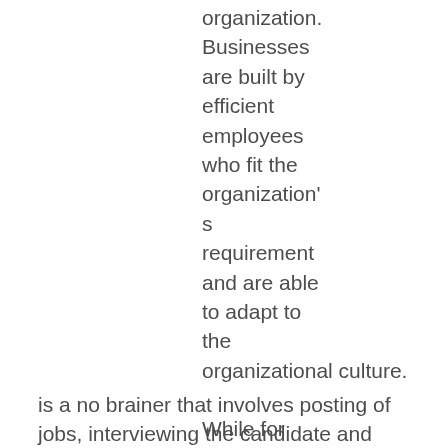organization. Businesses are built by efficient employees who fit the organization's requirement and are able to adapt to the organizational culture. While for many, recruitment is a no brainer that involves posting of jobs, interviewing the candidate and onboarding, it is actually an intricate process that involves shortlisting, scheduling, managing background